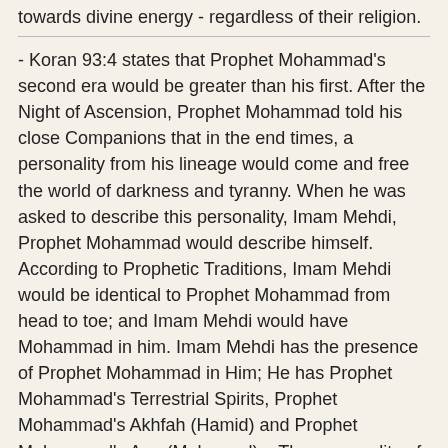towards divine energy - regardless of their religion.
- Koran 93:4 states that Prophet Mohammad's second era would be greater than his first. After the Night of Ascension, Prophet Mohammad told his close Companions that in the end times, a personality from his lineage would come and free the world of darkness and tyranny. When he was asked to describe this personality, Imam Mehdi, Prophet Mohammad would describe himself. According to Prophetic Traditions, Imam Mehdi would be identical to Prophet Mohammad from head to toe; and Imam Mehdi would have Mohammad in him. Imam Mehdi has the presence of Prophet Mohammad in Him; He has Prophet Mohammad's Terrestrial Spirits, Prophet Mohammad's Akhfah (Hamid) and Prophet Mohammad's Ana (Mehmood).   The personality of Imam Mehdi, His Divine Eminence Gohar Shahi, is partially the second era of Prophet Mohammad.
- Some of the Koran was for Prophet Mohammad's first era which was restricted by the religion and some of the Koran is for the second era in which there are no restrictions of the religion. The Dhikr of ALRA and secrets of ALRA, according to the Koran, are revealed about the heart of the Prophet...